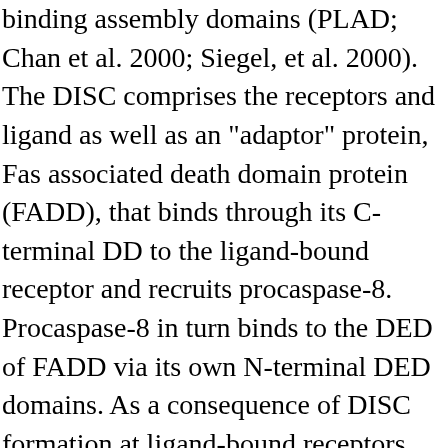binding assembly domains (PLAD; Chan et al. 2000; Siegel, et al. 2000). The DISC comprises the receptors and ligand as well as an "adaptor" protein, Fas associated death domain protein (FADD), that binds through its C-terminal DD to the ligand-bound receptor and recruits procaspase-8. Procaspase-8 in turn binds to the DED of FADD via its own N-terminal DED domains. As a consequence of DISC formation at ligand-bound receptors, several molecules of procaspase-8 are brought into close proximity, resulting in high local concentration of procaspase-8. One hypothesis suggests that the low intrinsic activity of procaspase-8 allows the procaspase-8 monomers to cleave and